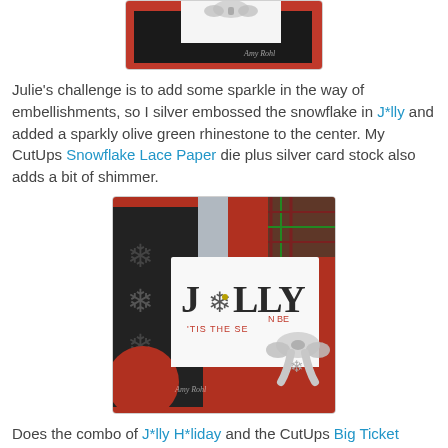[Figure (photo): Close-up photo of a Christmas card with red background, black layer, white card with silver bow on top, watermark 'Amy Rohl']
Julie's challenge is to add some sparkle in the way of embellishments, so I silver embossed the snowflake in J*lly and added a sparkly olive green rhinestone to the center. My CutUps Snowflake Lace Paper die plus silver card stock also adds a bit of shimmer.
[Figure (photo): Close-up photo of a holiday card reading 'JOLLY' with a snowflake replacing the O, 'TIS THE SEASON TO BE' stamped below, silver ribbon bow on right, red background with snowflake cutouts, plaid paper, watermark 'Amy Rohl']
Does the combo of J*lly H*liday and the CutUps Big Ticket